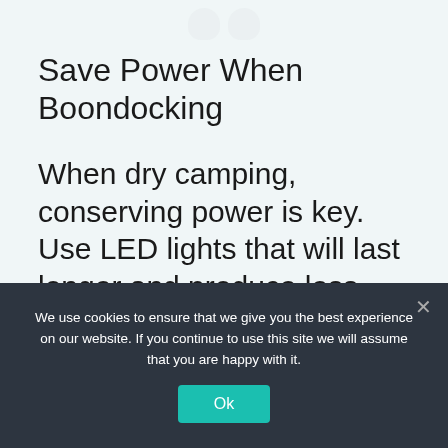[Figure (illustration): Partial view of two light bulb shapes at top of page against light blue-grey background]
Save Power When Boondocking
When dry camping, conserving power is key. Use LED lights that will last longer and produce less heat than normal bulbs. Turn off
We use cookies to ensure that we give you the best experience on our website. If you continue to use this site we will assume that you are happy with it.